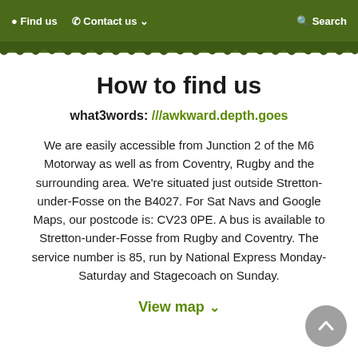Find us   Contact us   Search
How to find us
what3words: ///awkward.depth.goes
We are easily accessible from Junction 2 of the M6 Motorway as well as from Coventry, Rugby and the surrounding area. We're situated just outside Stretton-under-Fosse on the B4027. For Sat Navs and Google Maps, our postcode is: CV23 0PE. A bus is available to Stretton-under-Fosse from Rugby and Coventry. The service number is 85, run by National Express Monday-Saturday and Stagecoach on Sunday.
View map